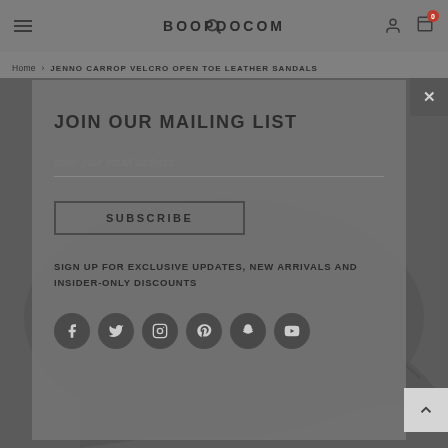BOOPDOCOM
Home › JENNO CARROP VELCRO OPEN TOE LEATHER SANDALS
JOIN OUR MAILING LIST
enter your email address
SUBSCRIBE
SIGN UP FOR EXCLUSIVE UPDATES, NEW ARRIVALS AND INSIDER-ONLY DISCOUNTS
[Figure (illustration): Row of social media icon circles: Facebook, Twitter, Instagram, Pinterest, Snapchat, YouTube]